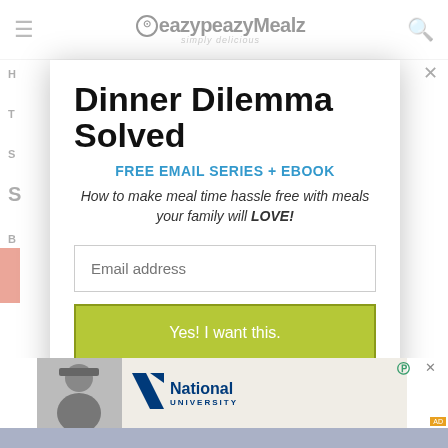eazypeazyMealz — simply delicious
Dinner Dilemma Solved
FREE EMAIL SERIES + EBOOK
How to make meal time hassle free with meals your family will LOVE!
Email address
Yes! I want this.
[Figure (photo): Advertisement banner showing a person in military uniform smiling, with National University logo and text.]